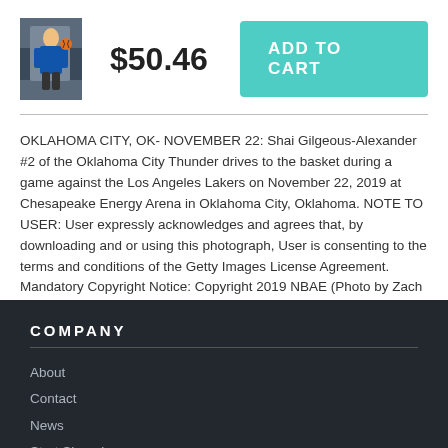[Figure (photo): Basketball player (Shai Gilgeous-Alexander) dunking or driving to the basket during an NBA game, Oklahoma City Thunder uniform]
$50.46
ADD TO CART
OKLAHOMA CITY, OK- NOVEMBER 22: Shai Gilgeous-Alexander #2 of the Oklahoma City Thunder drives to the basket during a game against the Los Angeles Lakers on November 22, 2019 at Chesapeake Energy Arena in Oklahoma City, Oklahoma. NOTE TO USER: User expressly acknowledges and agrees that, by downloading and or using this photograph, User is consenting to the terms and conditions of the Getty Images License Agreement. Mandatory Copyright Notice: Copyright 2019 NBAE (Photo by Zach Beeker/NBAE via Getty Images)Image provided by Getty Images.
COMPANY
About
Contact
News
Start Shopping